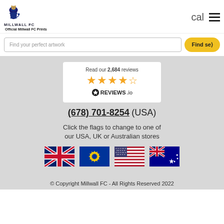[Figure (logo): Millwall FC lion crest logo with text MILLWALL FC]
Official Millwall FC Prints
cal
[Figure (other): Hamburger menu icon (three horizontal lines)]
Find your perfect artwork
Find se
[Figure (other): Reviews.io widget showing 2,684 reviews with 4.5 star rating]
(678) 701-8254 (USA)
Click the flags to change to one of our USA, UK or Australian stores
[Figure (other): Four country flags: UK, EU, USA, Australia]
© Copyright Millwall FC - All Rights Reserved 2022